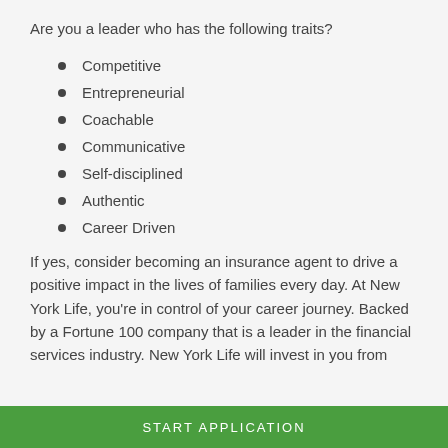Are you a leader who has the following traits?
Competitive
Entrepreneurial
Coachable
Communicative
Self-disciplined
Authentic
Career Driven
If yes, consider becoming an insurance agent to drive a positive impact in the lives of families every day. At New York Life, you're in control of your career journey. Backed by a Fortune 100 company that is a leader in the financial services industry. New York Life will invest in you from
START APPLICATION